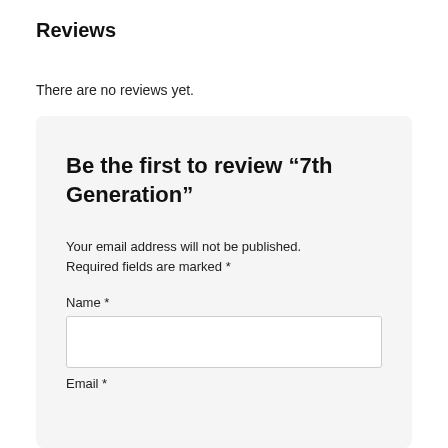Reviews
There are no reviews yet.
Be the first to review “7th Generation”
Your email address will not be published. Required fields are marked *
Name *
Email *